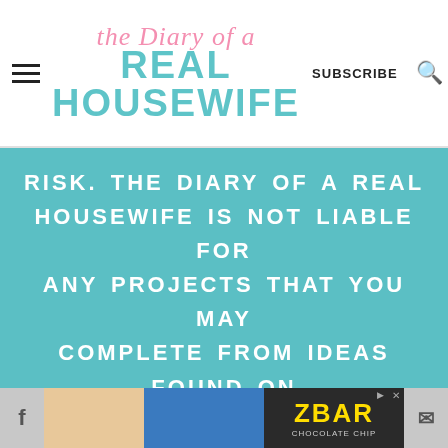The Diary of a Real Housewife — SUBSCRIBE
RISK. THE DIARY OF A REAL HOUSEWIFE IS NOT LIABLE FOR ANY PROJECTS THAT YOU MAY COMPLETE FROM IDEAS FOUND ON THIS BLOG.
COPYRIGHT © 2010 - 2021
JENNIFER DUNCAN, THE DIARY OF A REAL HOUSEWIFE · ALL RIGHTS
[Figure (photo): Bottom bar with social media icons (Facebook, email), thumbnail photos (child eating, blue background with sparkles), and ZBAR advertisement]
f · [thumbnail photos] · ZBAR advertisement · email icon